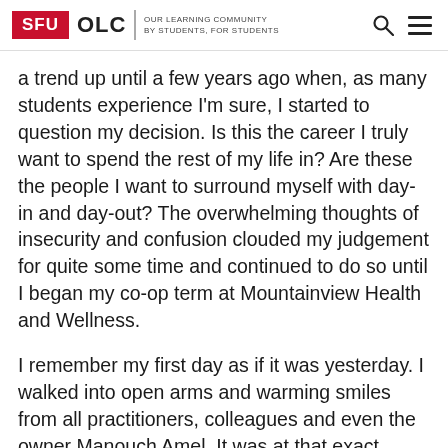SFU OLC | OUR LEARNING COMMUNITY BY STUDENTS, FOR STUDENTS
a trend up until a few years ago when, as many students experience I'm sure, I started to question my decision. Is this the career I truly want to spend the rest of my life in? Are these the people I want to surround myself with day-in and day-out? The overwhelming thoughts of insecurity and confusion clouded my judgement for quite some time and continued to do so until I began my co-op term at Mountainview Health and Wellness.
I remember my first day as if it was yesterday. I walked into open arms and warming smiles from all practitioners, colleagues and even the owner Manouch Amel. It was at that exact moment I realized that this is the industry for me. Since then, I